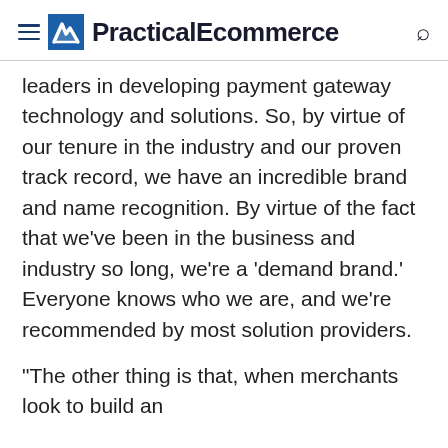PracticalEcommerce
leaders in developing payment gateway technology and solutions. So, by virtue of our tenure in the industry and our proven track record, we have an incredible brand and name recognition. By virtue of the fact that we’ve been in the business and industry so long, we’re a ‘demand brand.’ Everyone knows who we are, and we’re recommended by most solution providers.
“The other thing is that, when merchants look to build an